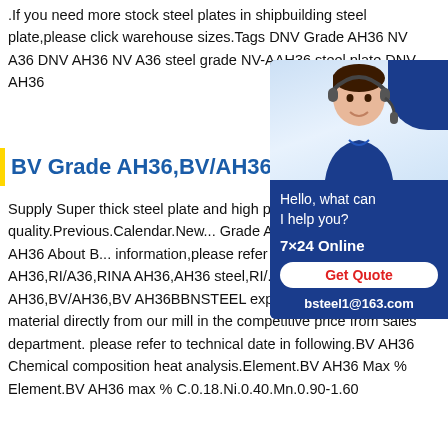.If you need more stock steel plates in shipbuilding steel plate,please click warehouse sizes.Tags DNV Grade AH36 NV A36 DNV AH36 NV A36 steel grade NV-AH36 steel plate DNV AH36
BV Grade AH36,BV/AH36…
[Figure (photo): Customer service representative wearing headset with chat widget showing 'Hello, what can I help you?', '7×24 Online', 'Get Quote' button, and 'bsteel1@163.com']
Supply Super thick steel plate and high p... with prime quality.Previous.Calendar.New... Grade AH36,BV/AH36,BV AH36 About B... information,please refer to technical date... AH36,RI/A36,RINA AH36,AH36 steel,RI/... Grade AH36,BV/AH36,BV AH36BBNSTEEL exported BV AH36 steel material directly from our mill in the competitive price from sales department. please refer to technical date in following.BV AH36 Chemical composition heat analysis.Element.BV AH36 Max % Element.BV AH36 max % C.0.18.Ni.0.40.Mn.0.90-1.60